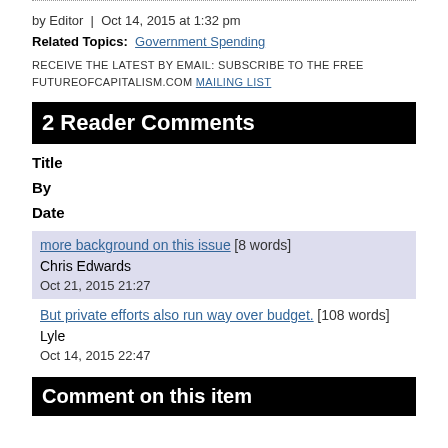by Editor  |  Oct 14, 2015 at 1:32 pm
Related Topics:  Government Spending
RECEIVE THE LATEST BY EMAIL: SUBSCRIBE TO THE FREE FUTUREOFCAPITALISM.COM MAILING LIST
2 Reader Comments
Title
By
Date
more background on this issue [8 words]
Chris Edwards
Oct 21, 2015 21:27
But private efforts also run way over budget. [108 words]
Lyle
Oct 14, 2015 22:47
Comment on this item